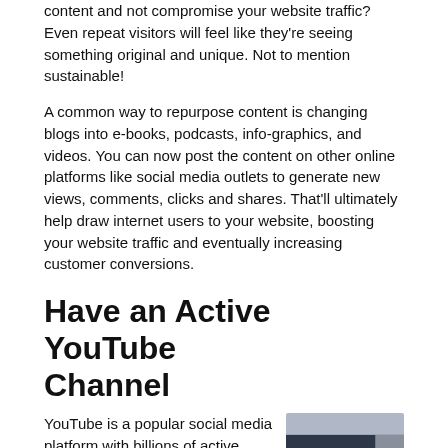content and not compromise your website traffic? Even repeat visitors will feel like they're seeing something original and unique. Not to mention sustainable!
A common way to repurpose content is changing blogs into e-books, podcasts, info-graphics, and videos. You can now post the content on other online platforms like social media outlets to generate new views, comments, clicks and shares. That'll ultimately help draw internet users to your website, boosting your website traffic and eventually increasing customer conversions.
Have an Active YouTube Channel
YouTube is a popular social media platform with billions of active users. It attracts
[Figure (photo): Woman wearing blue headphones at a podcast microphone, eyes closed, hands covering mouth, in a studio setting]